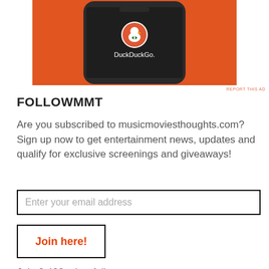[Figure (screenshot): DuckDuckGo app advertisement showing a smartphone with DuckDuckGo logo and name on an orange background]
REPORT THIS AD
FOLLOWMMT
Are you subscribed to musicmoviesthoughts.com? Sign up now to get entertainment news, updates and qualify for exclusive screenings and giveaways!
Enter your email address
Join here!
Join 2,432 other followers